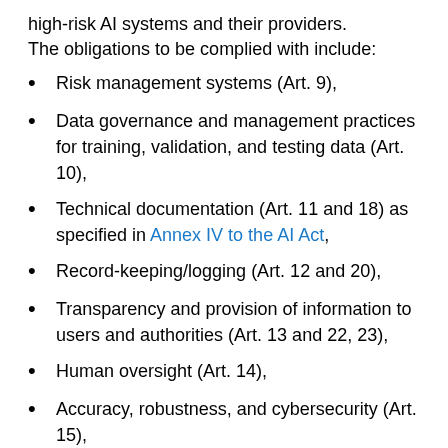high-risk AI systems and their providers. The obligations to be complied with include:
Risk management systems (Art. 9),
Data governance and management practices for training, validation, and testing data (Art. 10),
Technical documentation (Art. 11 and 18) as specified in Annex IV to the AI Act,
Record-keeping/logging (Art. 12 and 20),
Transparency and provision of information to users and authorities (Art. 13 and 22, 23),
Human oversight (Art. 14),
Accuracy, robustness, and cybersecurity (Art. 15),
Quality management systems (Art. 17),
Conformity Assessment (Art. 19) and drawing up a